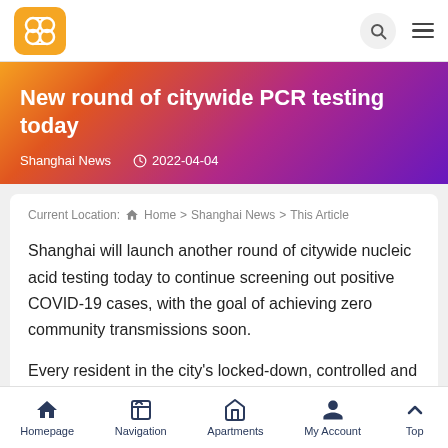Logo navigation bar with search and menu icons
New round of citywide PCR testing today
Shanghai News   2022-04-04
Current Location: Home > Shanghai News > This Article
Shanghai will launch another round of citywide nucleic acid testing today to continue screening out positive COVID-19 cases, with the goal of achieving zero community transmissions soon.
Every resident in the city's locked-down, controlled and precautionary areas will take a polymerase chain reaction test...
Homepage   Navigation   Apartments   My Account   Top